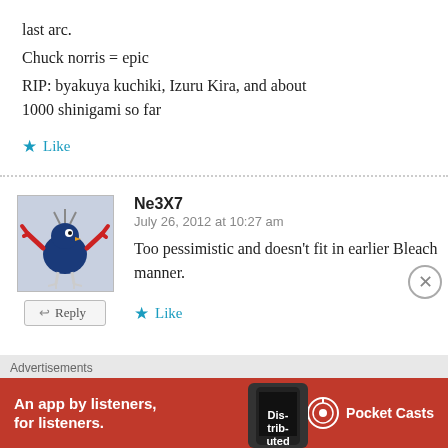last arc.
Chuck norris = epic
RIP: byakuya kuchiki, Izuru Kira, and about 1000 shinigami so far
Like
Ne3X7
July 26, 2012 at 10:27 am
Too pessimistic and doesn't fit in earlier Bleach manner.
Like
Advertisements
An app by listeners, for listeners. Pocket Casts